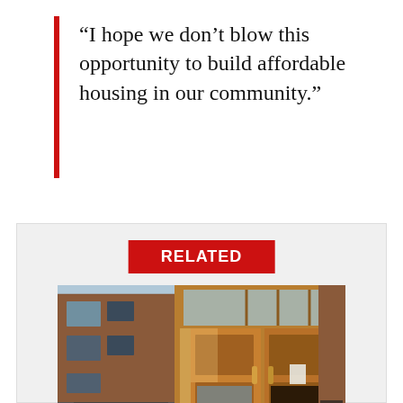“I hope we don’t blow this opportunity to build affordable housing in our community.”
RELATED
[Figure (photo): Exterior photo of a brick building entrance labeled 'ST. DENNIS' with wooden double doors and the number 163 visible]